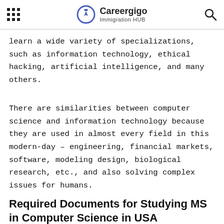Careergigo Immigration HUB
learn a wide variety of specializations, such as information technology, ethical hacking, artificial intelligence, and many others.
There are similarities between computer science and information technology because they are used in almost every field in this modern-day – engineering, financial markets, software, modeling design, biological research, etc., and also solving complex issues for humans.
Required Documents for Studying MS in Computer Science in USA